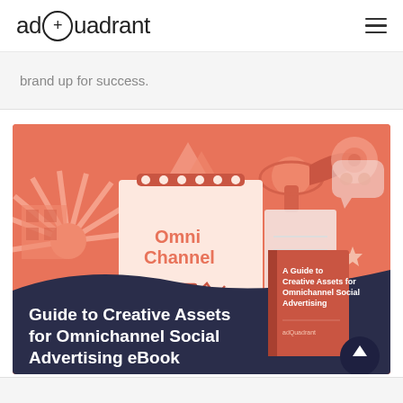adQuadrant
brand up for success.
[Figure (illustration): Colorful illustration showing omnichannel marketing icons (megaphone, camera, shapes, stars) with a notebook labeled 'Omni Channel' and a book cover reading 'A Guide to Creative Assets for Omnichannel Social Advertising'. Bold white text overlay: 'Guide to Creative Assets for Omnichannel Social Advertising eBook']